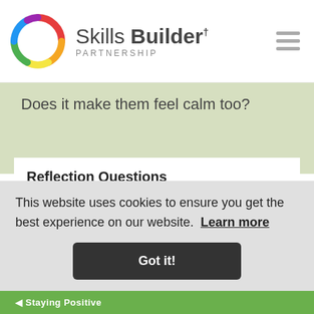Skills Builder PARTNERSHIP
Does it make them feel calm too?
Reflection Questions
Getting Started: How does this activity make you feel?
Intermediate: How could you use this activity to feel more positive when something goes wrong?
This website uses cookies to ensure you get the best experience on our website. Learn more
Got it!
Staying Positive